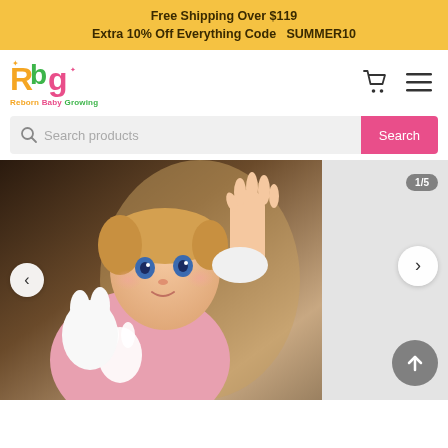Free Shipping Over $119
Extra 10% Off Everything Code  SUMMER10
[Figure (logo): Reborn Baby Growing logo with colorful RBG letters and tagline]
Search products
[Figure (photo): Reborn baby doll with blonde hair, blue eyes, pink outfit with bunny design, holding a white stuffed bunny toy, sitting in a wicker chair, one hand raised. Image navigation shows 1/5.]